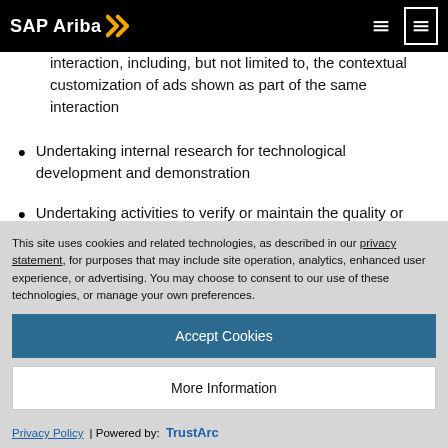SAP Ariba
interaction, including, but not limited to, the contextual customization of ads shown as part of the same interaction
Undertaking internal research for technological development and demonstration
Undertaking activities to verify or maintain the quality or safety of a service or device that is owned,
This site uses cookies and related technologies, as described in our privacy statement, for purposes that may include site operation, analytics, enhanced user experience, or advertising. You may choose to consent to our use of these technologies, or manage your own preferences.
Accept Cookies
More Information
Privacy Policy | Powered by: TrustArc
(Article 6(1) in a GDPR): Each below section about a